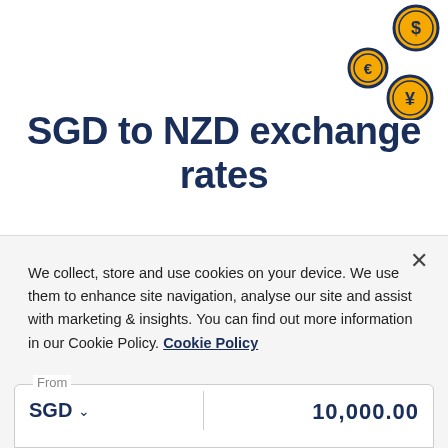[Figure (illustration): Three currency coin icons: dollar ($), euro (€), and yen (¥) in gold/amber color with dark navy outlines, arranged in upper right corner]
SGD to NZD exchange rates
Convert Singapore dollars to New Zealand dollars. Get great foreign
We collect, store and use cookies on your device. We use them to enhance site navigation, analyse our site and assist with marketing & insights. You can find out more information in our Cookie Policy. Cookie Policy